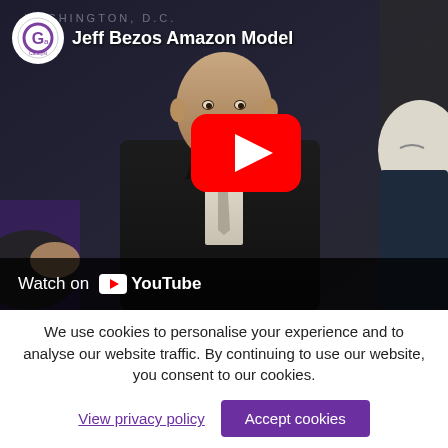[Figure (screenshot): YouTube video thumbnail showing Jeff Bezos Amazon Model — a dark scene of a man in a suit (Jeff Bezos) being interviewed, with a YouTube play button overlay, channel icon (Catalyst logo), video title 'Jeff Bezos Amazon Model', text 'WASHINGTON, D.C.' visible in background, and 'Watch on YouTube' bar at bottom.]
We use cookies to personalise your experience and to analyse our website traffic. By continuing to use our website, you consent to our cookies.
View privacy policy
Accept cookies